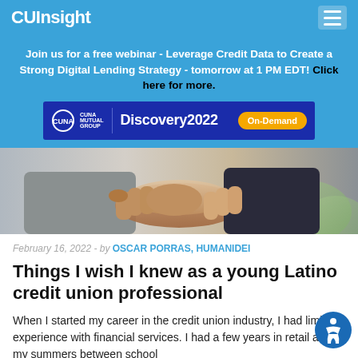CUInsight
Join us for a free webinar - Leverage Credit Data to Create a Strong Digital Lending Strategy - tomorrow at 1 PM EDT! Click here for more.
[Figure (logo): CUNA Mutual Group Discovery2022 On-Demand advertisement banner]
[Figure (photo): Two people shaking hands in a business setting]
February 16, 2022 - by OSCAR PORRAS, HUMANIDEI
Things I wish I knew as a young Latino credit union professional
When I started my career in the credit union industry, I had limited experience with financial services. I had a few years in retail and my summers between school